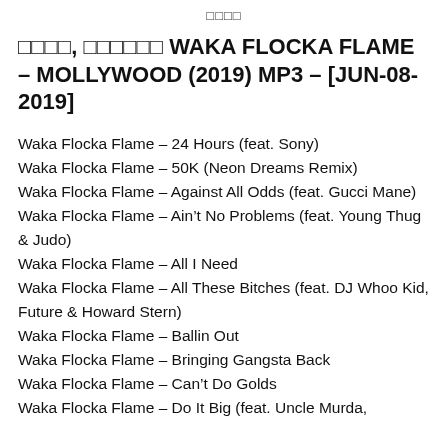□□□□
□□□□, □□□□□□ WAKA FLOCKA FLAME – MOLLYWOOD (2019) MP3 – [JUN-08-2019]
Waka Flocka Flame – 24 Hours (feat. Sony)
Waka Flocka Flame – 50K (Neon Dreams Remix)
Waka Flocka Flame – Against All Odds (feat. Gucci Mane)
Waka Flocka Flame – Ain't No Problems (feat. Young Thug & Judo)
Waka Flocka Flame – All I Need
Waka Flocka Flame – All These Bitches (feat. DJ Whoo Kid, Future & Howard Stern)
Waka Flocka Flame – Ballin Out
Waka Flocka Flame – Bringing Gangsta Back
Waka Flocka Flame – Can't Do Golds
Waka Flocka Flame – Do It Big (feat. Uncle Murda,